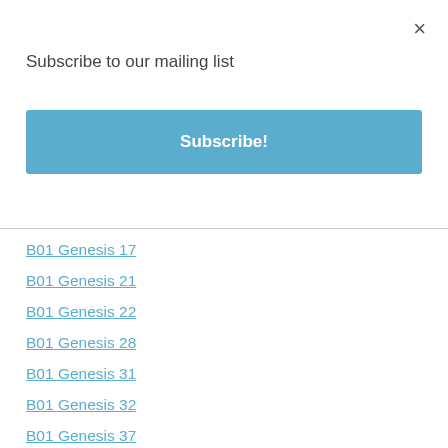×
Subscribe to our mailing list
Subscribe!
B01 Genesis 17
B01 Genesis 21
B01 Genesis 22
B01 Genesis 28
B01 Genesis 31
B01 Genesis 32
B01 Genesis 37
B01 Genesis 39
B01 Genesis 44
B01 Genesis 45
B01 Genesis 50
B02 Exodus 03
B02 Exodus 04
B02 Exodus 20